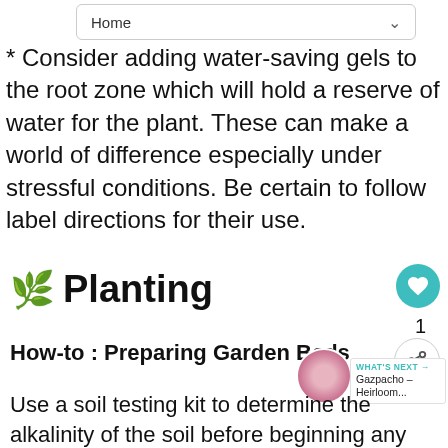Home
* Consider adding water-saving gels to the root zone which will hold a reserve of water for the plant. These can make a world of difference especially under stressful conditions. Be certain to follow label directions for their use.
🌿 Planting
How-to : Preparing Garden Beds
Use a soil testing kit to determine the alkalinity of the soil before beginning any